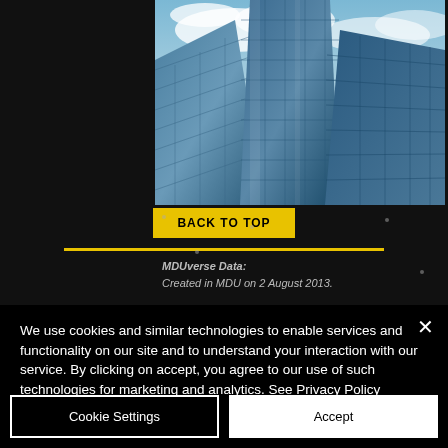[Figure (photo): Upward-looking perspective photograph of multiple glass skyscrapers against a blue cloudy sky]
[Figure (other): BACK TO TOP button in yellow/gold with black text, followed by a yellow horizontal line]
MDUverse Data:
Created in MDU on 2 August 2013.
We use cookies and similar technologies to enable services and functionality on our site and to understand your interaction with our service. By clicking on accept, you agree to our use of such technologies for marketing and analytics. See Privacy Policy
Cookie Settings
Accept